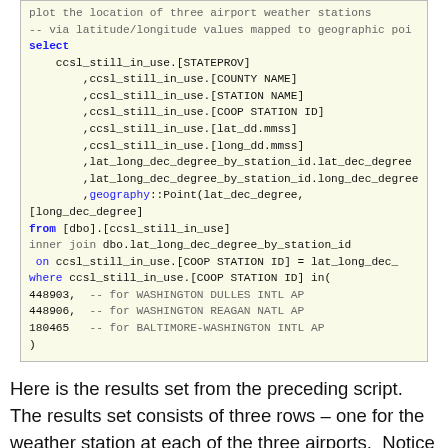plot the location of three airport weather stations
-- via latitude/longitude values mapped to geographic poi
select
    ccsl_still_in_use.[STATEPROV]
        ,ccsl_still_in_use.[COUNTY NAME]
        ,ccsl_still_in_use.[STATION NAME]
        ,ccsl_still_in_use.[COOP STATION ID]
        ,ccsl_still_in_use.[lat_dd.mmss]
        ,ccsl_still_in_use.[long_dd.mmss]
        ,lat_long_dec_degree_by_station_id.lat_dec_degree
        ,lat_long_dec_degree_by_station_id.long_dec_degree
        ,geography::Point(lat_dec_degree, [long_dec_degree]
from [dbo].[ccsl_still_in_use]
inner join dbo.lat_long_dec_degree_by_station_id
 on ccsl_still_in_use.[COOP STATION ID] = lat_long_dec_
where ccsl_still_in_use.[COOP STATION ID] in(
448903,  -- for WASHINGTON DULLES INTL AP
448906,  -- for WASHINGTON REAGAN NATL AP
180465   -- for BALTIMORE-WASHINGTON INTL AP
)
Here is the results set from the preceding script.  The results set consists of three rows – one for the weather station at each of the three airports.  Notice that the spatial